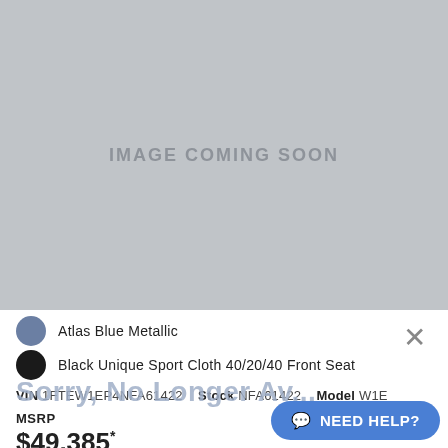[Figure (photo): Gray placeholder image with text IMAGE COMING SOON centered in the middle]
Atlas Blue Metallic
Black Unique Sport Cloth 40/20/40 Front Seat
VIN 1FTEW1EP4NFA61422   Stock NFA61422   Model W1E
MSRP
$49,385*
UNLOCK PRICE
Sorry, No Longer Available
NEED HELP?